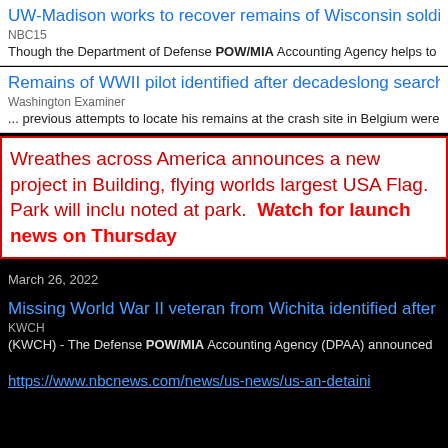UW-Madison works to recover remains of Wisconsin soldiers
NBC15
Though the Department of Defense POW/MIA Accounting Agency helps to
Remains of WWII pilot identified after decadeslong search | W
Washington Examiner
... previous attempts to locate his remains at the crash site in Belgium were
Wreathes across America announces a new project in Building, flying worlds largest USA Flag. Park will inclu noted at park. Watch for launch news on Thursday
March 26, 2022
Missing World War II veteran from Wichita identified after 75-
KWCH
(KWCH) - The Defense POW/MIA Accounting Agency (DPAA) announced
https://www.nbcnews.com/news/us-news/us-an-detain